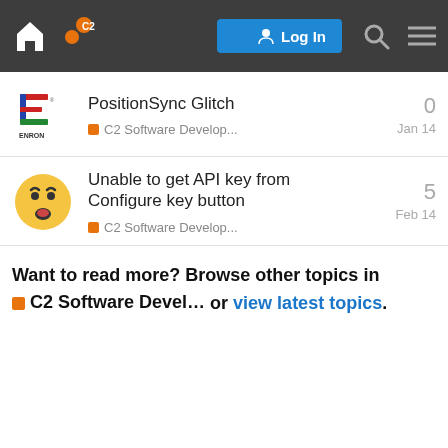Navigation bar with home icon, C2 logo, Log In button, search and menu icons
PositionSync Glitch | C2 Software Develop... | Jan 14 | 0
Unable to get API key from Configure key button | C2 Software Develop... | Feb 14 | 5
Want to read more? Browse other topics in C2 Software Devel... or view latest topics.